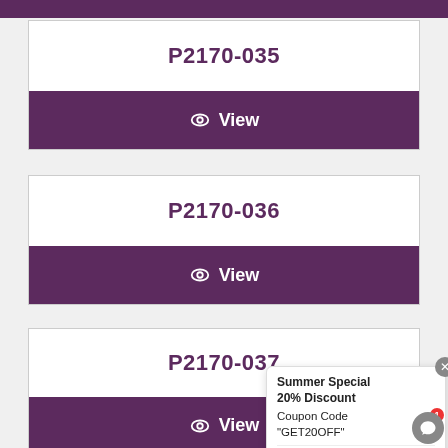P2170-035
View
P2170-036
View
P2170-037
View
Summer Special 20% Discount Coupon Code "GET20OFF"
Customer Support   just now
Write a